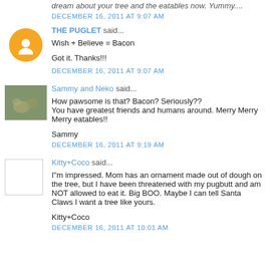dream about your tree and the eatables now. Yummy....
DECEMBER 16, 2011 AT 9:07 AM
THE PUGLET said...
Wish + Believe = Bacon

Got it. Thanks!!!
DECEMBER 16, 2011 AT 9:07 AM
Sammy and Neko said...
How pawsome is that? Bacon? Seriously??
You have greatest friends and humans around. Merry Merry Merry eatables!!

Sammy
DECEMBER 16, 2011 AT 9:19 AM
Kitty+Coco said...
I"m impressed. Mom has an ornament made out of dough on the tree, but I have been threatened with my pugbutt and am NOT allowed to eat it. Big BOO. Maybe I can tell Santa Claws I want a tree like yours.

Kitty+Coco
DECEMBER 16, 2011 AT 10:01 AM